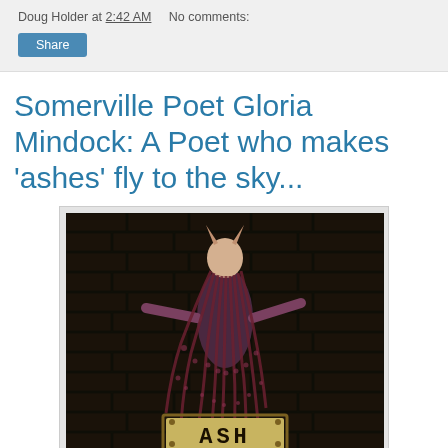Doug Holder at 2:42 AM   No comments:
Somervile Poet Gloria Mindock: A Poet who makes 'ashes' fly to the sky...
[Figure (photo): A figure or puppet with long flowing reddish-brown hair/tendrils, appearing to be pinned against a dark brick wall, with arms outstretched. Below the figure is a sign reading 'ASH' in bold letters on a golden/tan background.]